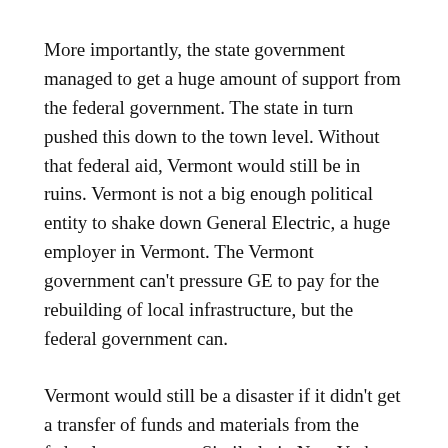More importantly, the state government managed to get a huge amount of support from the federal government. The state in turn pushed this down to the town level. Without that federal aid, Vermont would still be in ruins. Vermont is not a big enough political entity to shake down General Electric, a huge employer in Vermont. The Vermont government can't pressure GE to pay for the rebuilding of local infrastructure, but the federal government can.
Vermont would still be a disaster if it didn't get a transfer of funds and materials from the federal government. Similarly in New York City, the public sector does not get enough praise for the many things it did well after super storm Sandy. Huge parts of the subway system were flooded, yet it was all up and running within the month.